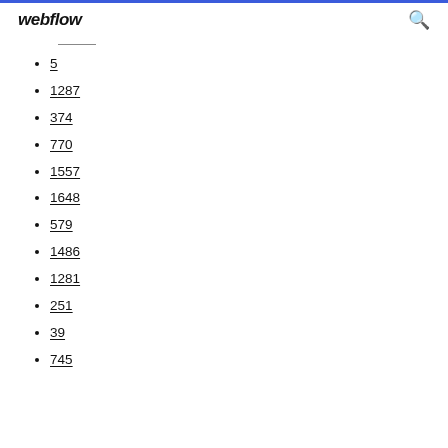webflow
5
1287
374
770
1557
1648
579
1486
1281
251
39
745